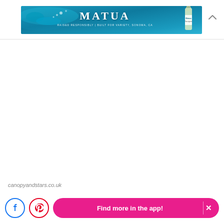[Figure (photo): MATUA wine advertisement banner with swimmer in teal water and wine bottle on right side. Text reads MATUA with tagline below.]
canopyandstars.co.uk
[Figure (infographic): Bottom bar with Facebook icon button, Pinterest icon button, and a pink pill-shaped 'Find more in the app!' button with X close button]